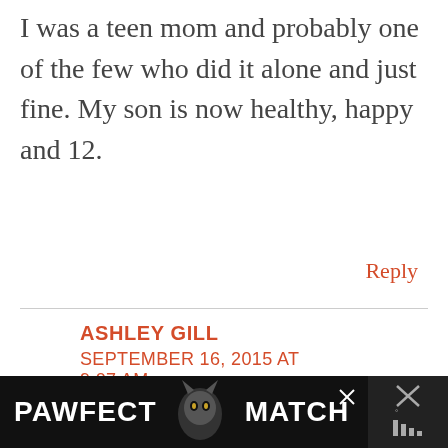I was a teen mom and probably one of the few who did it alone and just fine. My son is now healthy, happy and 12.
Reply
ASHLEY GILL
SEPTEMBER 16, 2015 AT 9:07 AM
[Figure (other): Share button icon (circle with share symbol)]
[Figure (other): Advertisement banner: PAWFECT MATCH with cat image, black background, close button and icons on right]